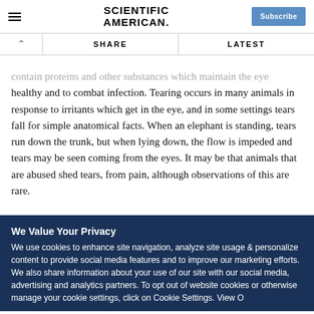Scientific American
contain proteins and other substances which maintain the eye healthy and to combat infection. Tearing occurs in many animals in response to irritants which get in the eye, and in some settings tears fall for simple anatomical facts. When an elephant is standing, tears run down the trunk, but when lying down, the flow is impeded and tears may be seen coming from the eyes. It may be that animals that are abused shed tears, from pain, although observations of this are rare.
We Value Your Privacy
We use cookies to enhance site navigation, analyze site usage & personalize content to provide social media features and to improve our marketing efforts. We also share information about your use of our site with our social media, advertising and analytics partners. To opt out of website cookies or otherwise manage your cookie settings, click on Cookie Settings. View O...